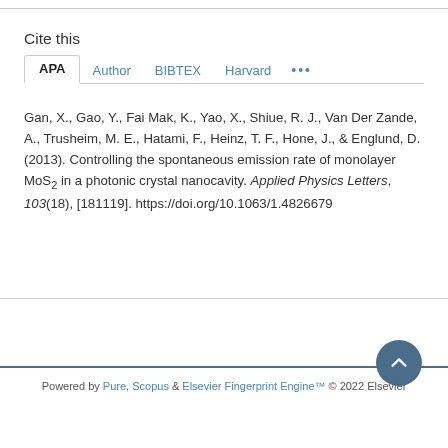Cite this
APA | Author | BIBTEX | Harvard | ...
Gan, X., Gao, Y., Fai Mak, K., Yao, X., Shiue, R. J., Van Der Zande, A., Trusheim, M. E., Hatami, F., Heinz, T. F., Hone, J., & Englund, D. (2013). Controlling the spontaneous emission rate of monolayer MoS2 in a photonic crystal nanocavity. Applied Physics Letters, 103(18), [181119]. https://doi.org/10.1063/1.4826679
Powered by Pure, Scopus & Elsevier Fingerprint Engine™ © 2022 Elsevier